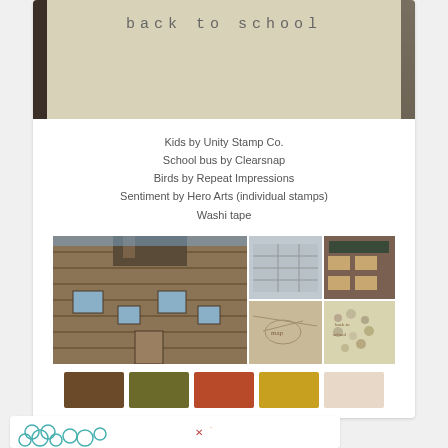[Figure (photo): Top portion of a card showing 'back to school' text on a light background]
Kids by Unity Stamp Co.
School bus by Clearsnap
Birds by Repeat Impressions
Sentiment by Hero Arts (individual stamps)
Washi tape
[Figure (photo): Collage of 5 photos: log cabin/schoolhouse, school bus, classroom desks, old map, rubber stamps. Below: 5 color swatches in brown, olive, rust, gold, and cream.]
[Figure (photo): Partial view of a second card with teal floral designs at the bottom of the page]